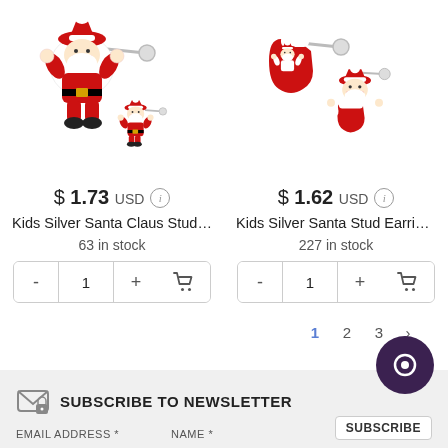[Figure (photo): Kids Silver Santa Claus stud earrings - two Santa Claus figures with red suit, silver post earring, shown from different angles]
$ 1.73 USD
Kids Silver Santa Claus Stud ...
63 in stock
[Figure (photo): Kids Silver Santa Stud Earrings - Santa Claus in red stocking, with separate Santa figure, silver post earring]
$ 1.62 USD
Kids Silver Santa Stud Earrings
227 in stock
1  2  3  >
SUBSCRIBE TO NEWSLETTER
EMAIL ADDRESS *   NAME *   SUBSCRIBE